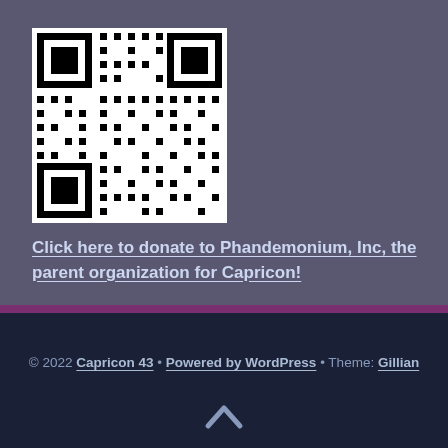[Figure (other): QR code for donating to Phandemonium, Inc]
Click here to donate to Phandemonium, Inc, the parent organization for Capricon!
© 2022 Capricon 43 • Powered by WordPress • Theme: Gillian